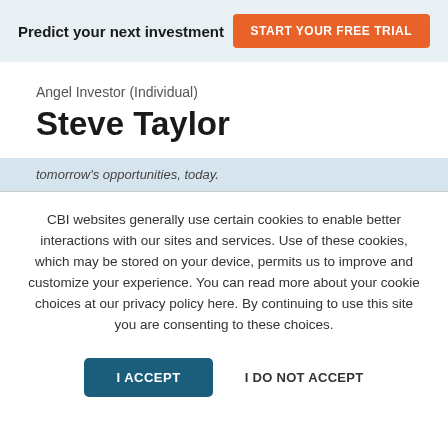Predict your next investment   START YOUR FREE TRIAL
Angel Investor (Individual)
Steve Taylor
tomorrow's opportunities, today.
CBI websites generally use certain cookies to enable better interactions with our sites and services. Use of these cookies, which may be stored on your device, permits us to improve and customize your experience. You can read more about your cookie choices at our privacy policy here. By continuing to use this site you are consenting to these choices.
I ACCEPT   I DO NOT ACCEPT